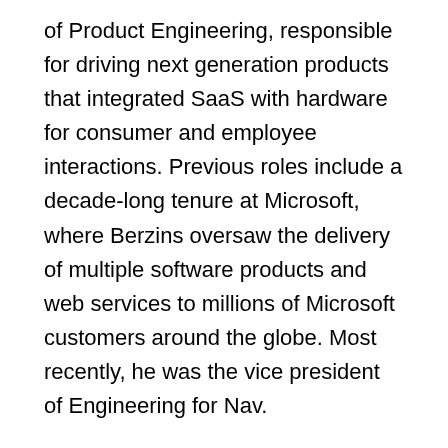of Product Engineering, responsible for driving next generation products that integrated SaaS with hardware for consumer and employee interactions. Previous roles include a decade-long tenure at Microsoft, where Berzins oversaw the delivery of multiple software products and web services to millions of Microsoft customers around the globe. Most recently, he was the vice president of Engineering for Nav.
"Maris has the leadership prowess and track record of driving innovation to take our platform to the next level to help enterprises navigate evolving workforce safety and security requirements. He'll take the helm building out our world-class engineering team to deliver cutting